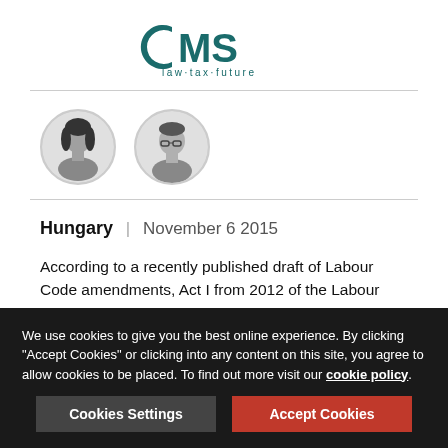[Figure (logo): CMS law·tax·future logo in teal/dark green color]
[Figure (photo): Two circular black-and-white headshots of authors/contributors]
Hungary | November 6 2015
According to a recently published draft of Labour Code amendments, Act I from 2012 of the Labour Code is expected to be amended with the effective date of 1 January 2016 (the "Amendment"). Although the Amendment is only in draft form and has not yet been accepted by the Hungarian Parliament, it
We use cookies to give you the best online experience. By clicking "Accept Cookies" or clicking into any content on this site, you agree to allow cookies to be placed. To find out more visit our cookie policy.